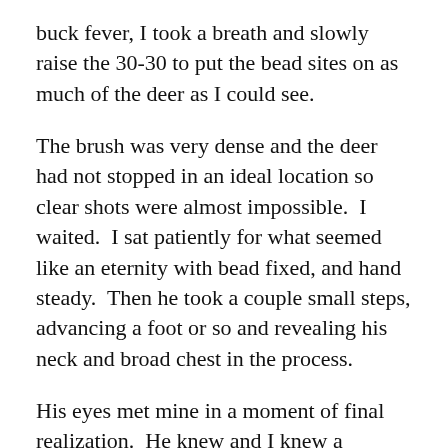buck fever, I took a breath and slowly raise the 30-30 to put the bead sites on as much of the deer as I could see.
The brush was very dense and the deer had not stopped in an ideal location so clear shots were almost impossible.  I waited.  I sat patiently for what seemed like an eternity with bead fixed, and hand steady.  Then he took a couple small steps, advancing a foot or so and revealing his neck and broad chest in the process.
His eyes met mine in a moment of final realization.  He knew and I knew a fraction of a second was all I had.
It was at this instant I took the shot.  Moments